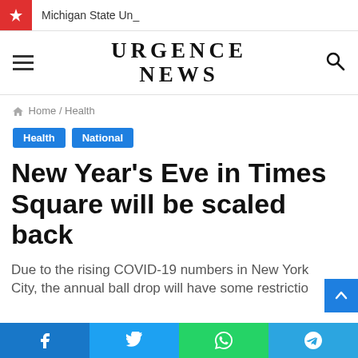Michigan State Un_
URGENCE NEWS
Home / Health
Health
National
New Year's Eve in Times Square will be scaled back
Due to the rising COVID-19 numbers in New York City, the annual ball drop will have some restrictio